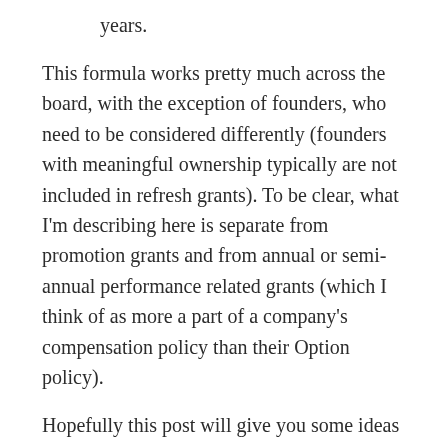years.
This formula works pretty much across the board, with the exception of founders, who need to be considered differently (founders with meaningful ownership typically are not included in refresh grants). To be clear, what I'm describing here is separate from promotion grants and from annual or semi-annual performance related grants (which I think of as more a part of a company's compensation policy than their Option policy).
Hopefully this post will give you some ideas for how to best structure your own option program. I'll be interested to see your feedback either below in the comments or directly to me.
Share this: